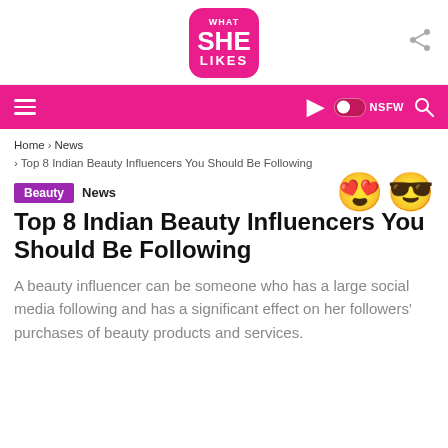[Figure (logo): What She Likes logo — pink rounded square with 'WHAT SHE LIKES' text in white]
Navigation bar with hamburger menu, moon icon, NSFW toggle, and search icon on pink background
Home › News
› Top 8 Indian Beauty Influencers You Should Be Following
Beauty  News
Top 8 Indian Beauty Influencers You Should Be Following
A beauty influencer can be someone who has a large social media following and has a significant effect on her followers' purchases of beauty products and services.